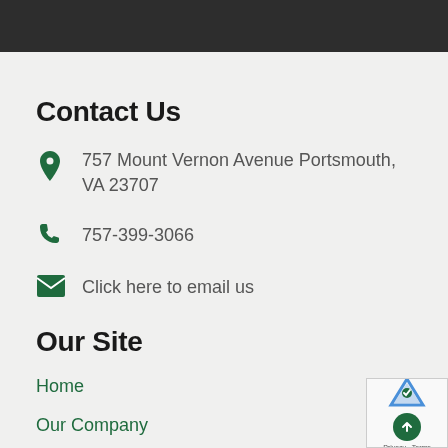Contact Us
757 Mount Vernon Avenue Portsmouth, VA 23707
757-399-3066
Click here to email us
Our Site
Home
Our Company